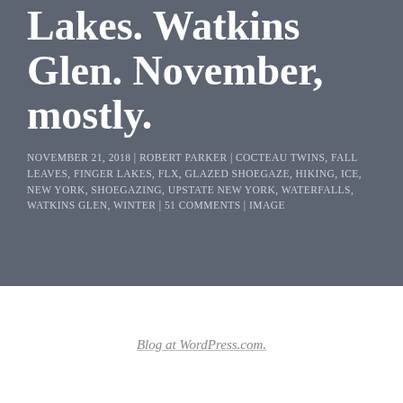Lakes. Watkins Glen. November, mostly.
NOVEMBER 21, 2018 | ROBERT PARKER | COCTEAU TWINS, FALL LEAVES, FINGER LAKES, FLX, GLAZED SHOEGAZE, HIKING, ICE, NEW YORK, SHOEGAZING, UPSTATE NEW YORK, WATERFALLS, WATKINS GLEN, WINTER | 51 COMMENTS | IMAGE
Blog at WordPress.com.